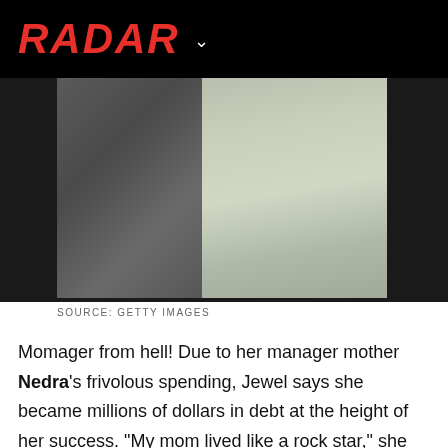RADAR
[Figure (photo): Two people standing close together, showing clothing — a grey button-up shirt on the left and a light green/cream dress or skirt on the right, against a dark background.]
SOURCE: GETTY IMAGES
Momager from hell! Due to her manager mother Nedra's frivolous spending, Jewel says she became millions of dollars in debt at the height of her success. "My mom lived like a rock star," she claims. "She flew in yoga instructors from Hawaii and